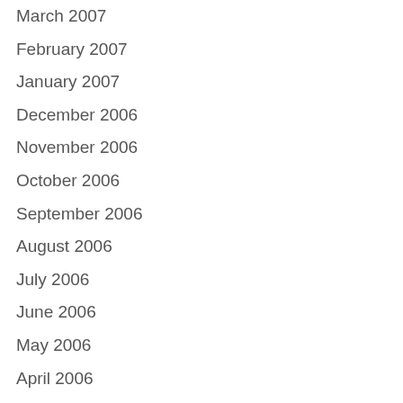March 2007
February 2007
January 2007
December 2006
November 2006
October 2006
September 2006
August 2006
July 2006
June 2006
May 2006
April 2006
February 2006